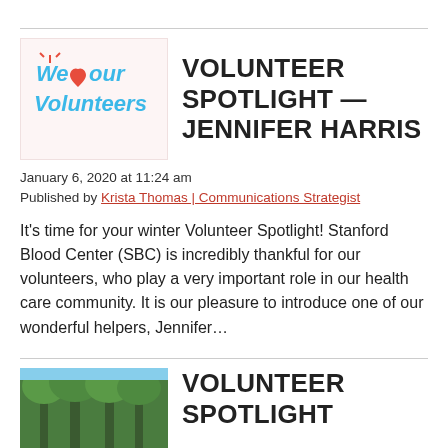[Figure (logo): We Love Our Volunteers logo with heart]
VOLUNTEER SPOTLIGHT — JENNIFER HARRIS
January 6, 2020 at 11:24 am
Published by Krista Thomas | Communications Strategist
It's time for your winter Volunteer Spotlight! Stanford Blood Center (SBC) is incredibly thankful for our volunteers, who play a very important role in our health care community. It is our pleasure to introduce one of our wonderful helpers, Jennifer...
[Figure (photo): Outdoor photo with trees]
VOLUNTEER SPOTLIGHT